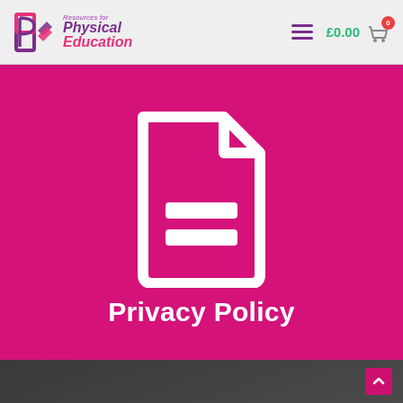[Figure (screenshot): Website header bar with logo for Resources for Physical Education, hamburger menu icon, cart price £0.00 and red badge with 0]
[Figure (illustration): White document/file icon on magenta background, representing a privacy policy page]
Privacy Policy